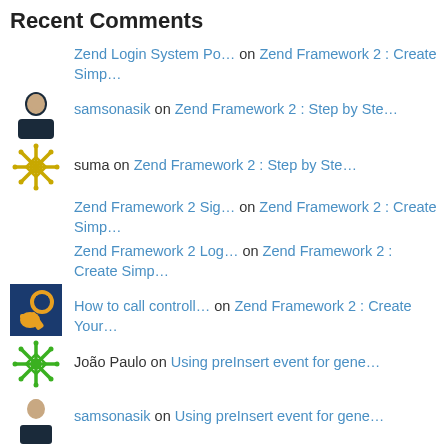Recent Comments
Zend Login System Po… on Zend Framework 2 : Create Simp…
samsonasik on Zend Framework 2 : Step by Ste…
suma on Zend Framework 2 : Step by Ste…
Zend Framework 2 Sig… on Zend Framework 2 : Create Simp…
Zend Framework 2 Log… on Zend Framework 2 : Create Simp…
How to call controll… on Zend Framework 2 : Create Your…
João Paulo on Using preInsert event for gene…
samsonasik on Using preInsert event for gene…